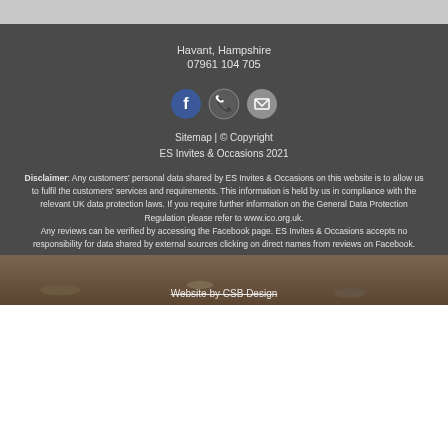Havant, Hampshire
07961 104 705
[Figure (illustration): Three circular social media icons: Facebook (blue), phone (grey), email/envelope (grey)]
Sitemap | © Copyright
ES Invites & Occasions 2021
Disclaimer: Any customers' personal data shared by ES Invites & Occasions on this website is to allow us to fulfil the customers' services and requirements. This information is held by us in compliance with the relevant UK data protection laws. If you require further information on the General Data Protection Regulation please refer to www.ico.org.uk.
Any reviews can be verified by accessing the Facebook page. ES Invites & Occasions accepts no responsibility for data shared by external sources clicking on direct names from reviews on Facebook.
Website by CSB Design